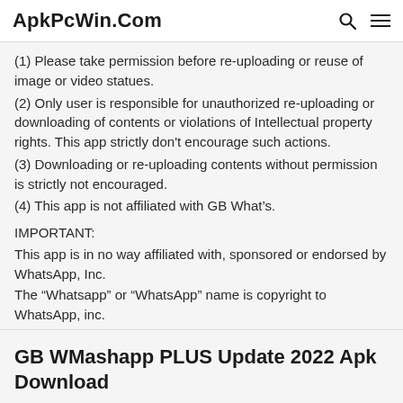ApkPcWin.Com
(1) Please take permission before re-uploading or reuse of image or video statues.
(2) Only user is responsible for unauthorized re-uploading or downloading of contents or violations of Intellectual property rights. This app strictly don't encourage such actions.
(3) Downloading or re-uploading contents without permission is strictly not encouraged.
(4) This app is not affiliated with GB What’s.
IMPORTANT:
This app is in no way affiliated with, sponsored or endorsed by WhatsApp, Inc.
The “Whatsapp” or “WhatsApp” name is copyright to WhatsApp, inc.
This app is not responsible for any kind of use of downloaded content by user.
GB WMashapp PLUS Update 2022 Apk Download